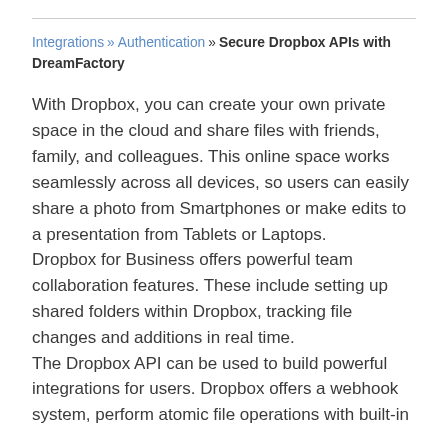Integrations » Authentication » Secure Dropbox APIs with DreamFactory
With Dropbox, you can create your own private space in the cloud and share files with friends, family, and colleagues. This online space works seamlessly across all devices, so users can easily share a photo from Smartphones or make edits to a presentation from Tablets or Laptops.
Dropbox for Business offers powerful team collaboration features. These include setting up shared folders within Dropbox, tracking file changes and additions in real time.
The Dropbox API can be used to build powerful integrations for users. Dropbox offers a webhook system, perform atomic file operations with built-in